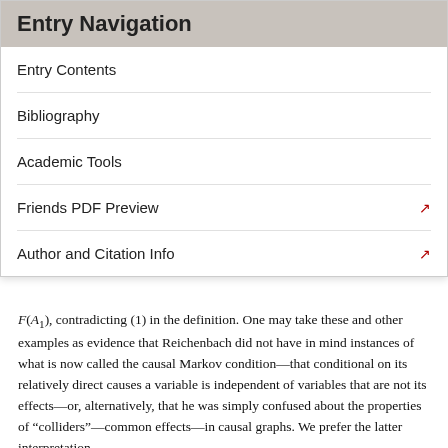Entry Navigation
Entry Contents
Bibliography
Academic Tools
Friends PDF Preview
Author and Citation Info
F(A1), contradicting (1) in the definition. One may take these and other examples as evidence that Reichenbach did not have in mind instances of what is now called the causal Markov condition—that conditional on its relatively direct causes a variable is independent of variables that are not its effects—or, alternatively, that he was simply confused about the properties of “colliders”—common effects—in causal graphs. We prefer the latter interpretation.
Causal direction in a network is now determined by supposing an asymmetrical intervention is available,